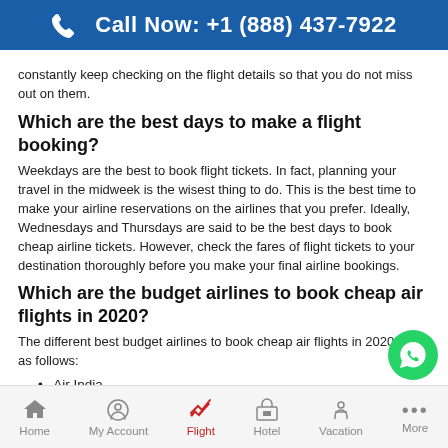Call Now: +1 (888) 437-7922
constantly keep checking on the flight details so that you do not miss out on them.
Which are the best days to make a flight booking?
Weekdays are the best to book flight tickets. In fact, planning your travel in the midweek is the wisest thing to do. This is the best time to make your airline reservations on the airlines that you prefer. Ideally, Wednesdays and Thursdays are said to be the best days to book cheap airline tickets. However, check the fares of flight tickets to your destination thoroughly before you make your final airline bookings.
Which are the budget airlines to book cheap air flights in 2020?
The different best budget airlines to book cheap air flights in 2020 are as follows:
Air India
Aeroflot
Etihad airways
Cathay Pacific
Emirates
Kuwait airlines
Turkish airways